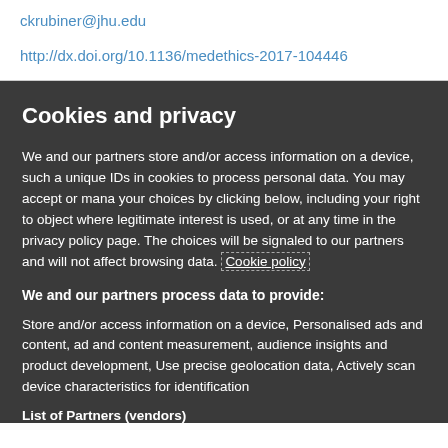ckrubiner@jhu.edu
http://dx.doi.org/10.1136/medethics-2017-104446
Cookies and privacy
We and our partners store and/or access information on a device, such as unique IDs in cookies to process personal data. You may accept or manage your choices by clicking below, including your right to object where legitimate interest is used, or at any time in the privacy policy page. These choices will be signaled to our partners and will not affect browsing data. Cookie policy
We and our partners process data to provide:
Store and/or access information on a device, Personalised ads and content, ad and content measurement, audience insights and product development, Use precise geolocation data, Actively scan device characteristics for identification
List of Partners (vendors)
[Figure (screenshot): Partial view of a button at the bottom, appears to be an Accept button]